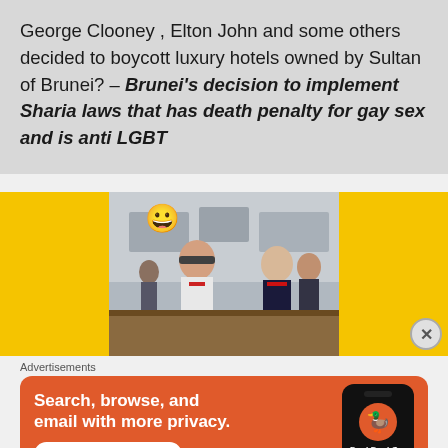George Clooney , Elton John and some others decided to boycott luxury hotels owned by Sultan of Brunei? – Brunei's decision to implement Sharia laws that has death penalty for gay sex and is anti LGBT
[Figure (photo): Yellow banner with photo of two men at what appears to be a fast food counter, one wearing glasses and a red lanyard, with a smiley face emoji overlay. Close button (X) in bottom right.]
Advertisements
[Figure (infographic): DuckDuckGo advertisement on orange-red background. Text reads: Search, browse, and email with more privacy. All in One Free App. Shows a smartphone with DuckDuckGo logo and brand name.]